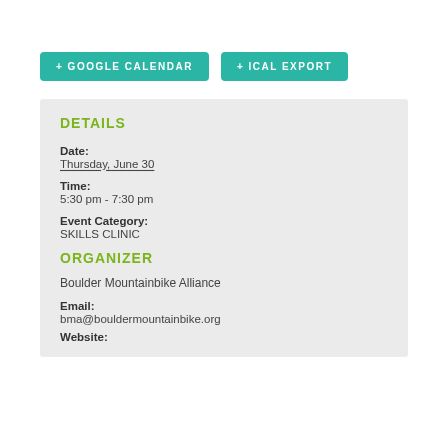+ GOOGLE CALENDAR
+ ICAL EXPORT
DETAILS
Date:
Thursday, June 30
Time:
5:30 pm - 7:30 pm
Event Category:
SKILLS CLINIC
ORGANIZER
Boulder Mountainbike Alliance
Email:
bma@bouldermountainbike.org
Website: